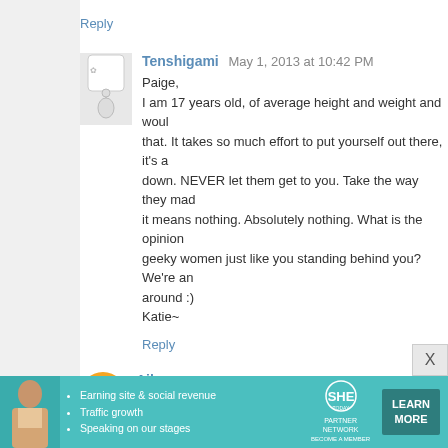Reply
Tenshigami  May 1, 2013 at 10:42 PM
Paige,
I am 17 years old, of average height and weight and would... It takes so much effort to put yourself out there, it's a... down. NEVER let them get to you. Take the way they made... it means nothing. Absolutely nothing. What is the opinion... geeky women just like you standing behind you? We're an... around :)
Katie~
Reply
Aileen  May 1, 2013 at 10:44 PM
Tired tonight, can't read all the comments, but love all of yo...
Eff the haters, and watch this video: http://www.youtube.c...
http://wilwheaton.net/2013/04/being-a-nerd-is-not-about-wh...
Reply
[Figure (infographic): SHE Partner Network ad banner with teal background, woman photo, bullet points about earning site & social revenue, traffic growth, speaking on stages, SHE logo, and LEARN MORE button]